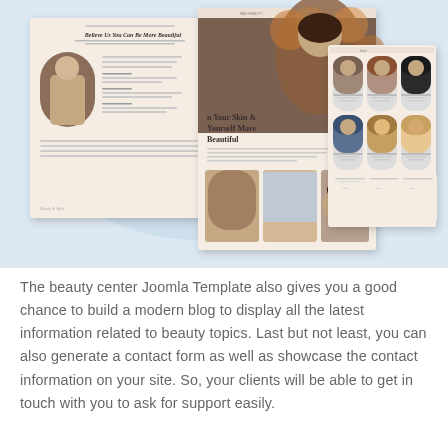[Figure (screenshot): A collage of beauty center website template screenshots showing blog pages, hero sections with a woman surrounded by flowers, a team member grid layout, and beauty product close-up images. The templates have a warm beige/cream color scheme.]
The beauty center Joomla Template also gives you a good chance to build a modern blog to display all the latest information related to beauty topics. Last but not least, you can also generate a contact form as well as showcase the contact information on your site. So, your clients will be able to get in touch with you to ask for support easily.